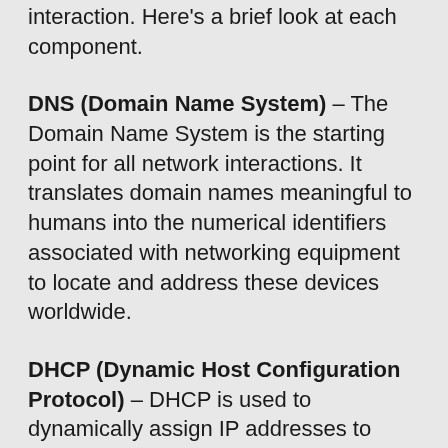interaction. Here's a brief look at each component.
DNS (Domain Name System) – The Domain Name System is the starting point for all network interactions. It translates domain names meaningful to humans into the numerical identifiers associated with networking equipment to locate and address these devices worldwide.
DHCP (Dynamic Host Configuration Protocol) – DHCP is used to dynamically assign IP addresses to endpoints. It enables IT teams to more easily keep track of networks, ranges, names and hardware address mappings.
IPAM (Internet Protocol Address Management) – IPAM is the administration of DNS and DHCP, which are the network services that assign and resolve IP addresses to machines in a TCP/IP network.